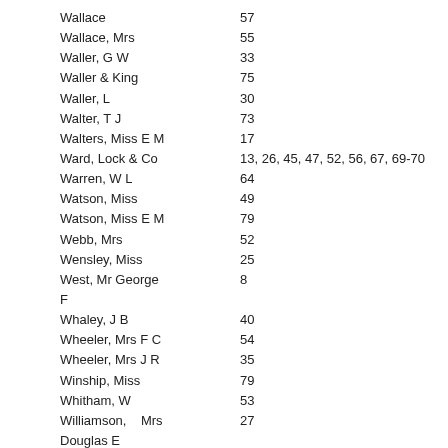Wallace  57
Wallace, Mrs  55
Waller, G W  33
Waller & King  75
Waller, L  30
Walter, T J  73
Walters, Miss E M  17
Ward, Lock & Co  13, 26, 45, 47, 52, 56, 67, 69-70
Warren, W L  64
Watson, Miss  49
Watson, Miss E M  79
Webb, Mrs  52
Wensley, Miss  25
West, Mr George  8 F
Whaley, J B  40
Wheeler, Mrs F C  54
Wheeler, Mrs J R  35
Winship, Miss  79
Whitham, W  53
Williamson, Mrs Douglas E  27
Williams...